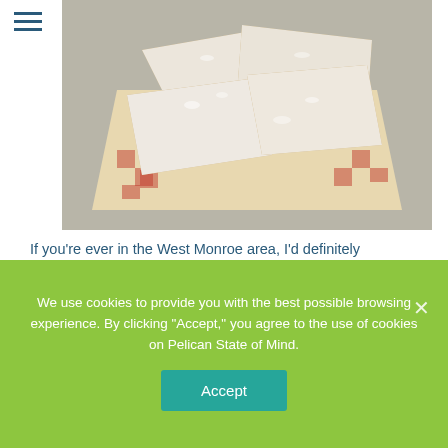[Figure (photo): Beignets covered in powdered sugar in a red and white checkered paper tray on a gray surface]
If you're ever in the West Monroe area, I'd definitely recommend trying the beignets from Caster and Chicory! Recently, I got the chance to try their beignets, and they were absolutely delicious!
We use cookies to provide you with the best possible browsing experience. By clicking "Accept," you agree to the use of cookies on Pelican State of Mind.